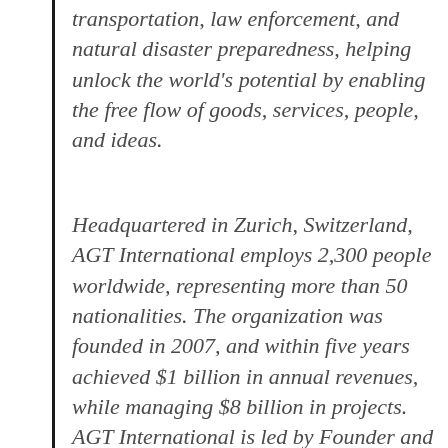transportation, law enforcement, and natural disaster preparedness, helping unlock the world's potential by enabling the free flow of goods, services, people, and ideas.
Headquartered in Zurich, Switzerland, AGT International employs 2,300 people worldwide, representing more than 50 nationalities. The organization was founded in 2007, and within five years achieved $1 billion in annual revenues, while managing $8 billion in projects. AGT International is led by Founder and